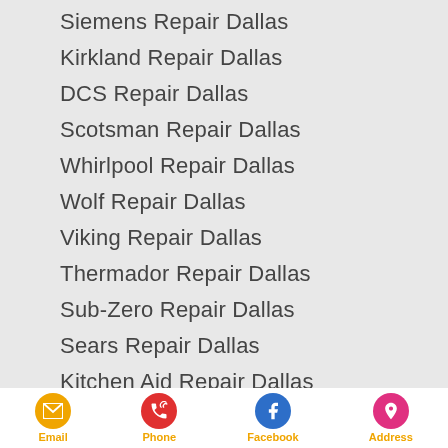Siemens Repair Dallas
Kirkland Repair Dallas
DCS Repair Dallas
Scotsman Repair Dallas
Whirlpool Repair Dallas
Wolf Repair Dallas
Viking Repair Dallas
Thermador Repair Dallas
Sub-Zero Repair Dallas
Sears Repair Dallas
Kitchen Aid Repair Dallas
Samsung Repair Dallas
Email | Phone | Facebook | Address